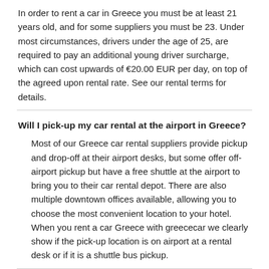In order to rent a car in Greece you must be at least 21 years old, and for some suppliers you must be 23. Under most circumstances, drivers under the age of 25, are required to pay an additional young driver surcharge, which can cost upwards of €20.00 EUR per day, on top of the agreed upon rental rate. See our rental terms for details.
Will I pick-up my car rental at the airport in Greece?
Most of our Greece car rental suppliers provide pickup and drop-off at their airport desks, but some offer off-airport pickup but have a free shuttle at the airport to bring you to their car rental depot. There are also multiple downtown offices available, allowing you to choose the most convenient location to your hotel. When you rent a car Greece with greececar we clearly show if the pick-up location is on airport at a rental desk or if it is a shuttle bus pickup.
What type of car is best for vacationing in Greece?
When choosing a rental car in Greece, it is important to